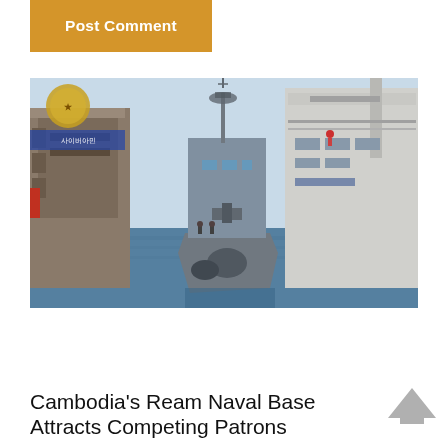Post Comment
[Figure (photo): Naval vessels docked at a port or naval base. A grey military ship is centered in the foreground with radar and antenna equipment visible. Ships and dock structures are visible on both sides. Water is visible below. A logo/emblem appears in the upper left corner.]
Cambodia's Ream Naval Base Attracts Competing Patrons